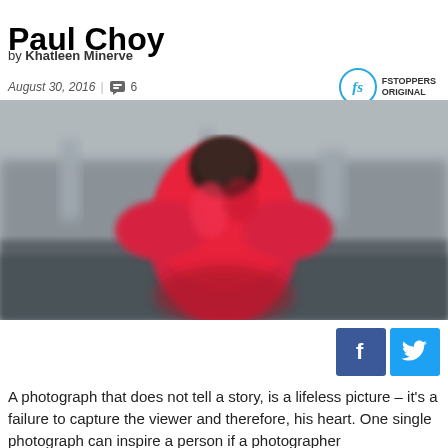Paul Choy
by Khatleen Minerve
August 30, 2016 | 6
[Figure (photo): Blurred photograph of a person wearing a red jacket, shot from behind or side angle, with a muted grey urban background. The image has a bokeh/shallow depth of field effect.]
[Figure (infographic): Facebook and Twitter social share buttons side by side]
A photograph that does not tell a story, is a lifeless picture – it's a failure to capture the viewer and therefore, his heart. One single photograph can inspire a person if a photographer